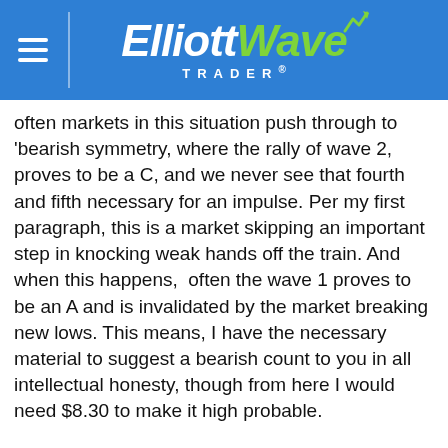Elliott Wave Trader
often markets in this situation push through to 'bearish symmetry, where the rally of wave 2, proves to be a C, and we never see that fourth and fifth necessary for an impulse. Per my first paragraph, this is a market skipping an important step in knocking weak hands off the train. And when this happens,  often the wave 1 proves to be an A and is invalidated by the market breaking new lows. This means, I have the necessary material to suggest a bearish count to you in all intellectual honesty, though from here I would need $8.30 to make it high probable.
Please keep that bearish potential in mind, but I am not going to present that to you now. Instead I am wearing my rosy glasses today, in the context of what I call a solid leading diagonal completing in Bitcoin. Certainly, with even as much